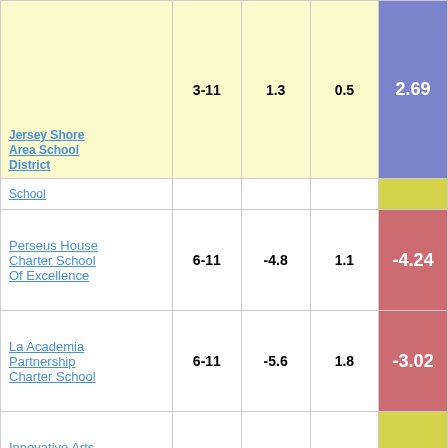| School | Grades | Col3 | Col4 | Score |
| --- | --- | --- | --- | --- |
| Jersey Shore Area School District | 3-11 | 1.3 | 0.5 | 2.69 |
| School (partial) |  |  |  |  |
| Perseus House Charter School Of Excellence | 6-11 | -4.8 | 1.1 | -4.24 |
| La Academia Partnership Charter School | 6-11 | -5.6 | 1.8 | -3.02 |
| Innovative Arts Academy Charter School | 6-11 | -1.5 | 0.8 | -1.78 |
| Mastery Charter School - Pickett Campus | 6-10 | 1.2 | 1.1 | 1.12 |
| Centre Learning Community Charter School | 5-8 | 4.9 | 2.0 | 2.45 |